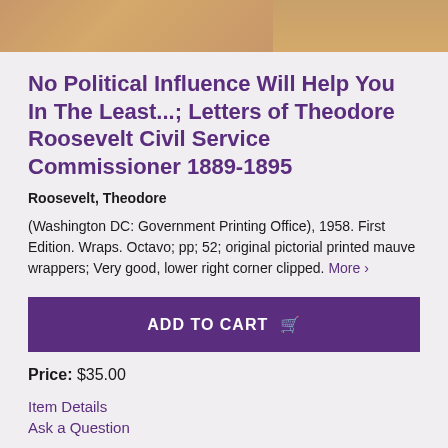[Figure (photo): Partial view of a book cover with tan/brown coloring]
No Political Influence Will Help You In The Least...; Letters of Theodore Roosevelt Civil Service Commissioner 1889-1895
Roosevelt, Theodore
(Washington DC: Government Printing Office), 1958. First Edition. Wraps. Octavo; pp; 52; original pictorial printed mauve wrappers; Very good, lower right corner clipped. More ›
ADD TO CART
Price: $35.00
Item Details
Ask a Question